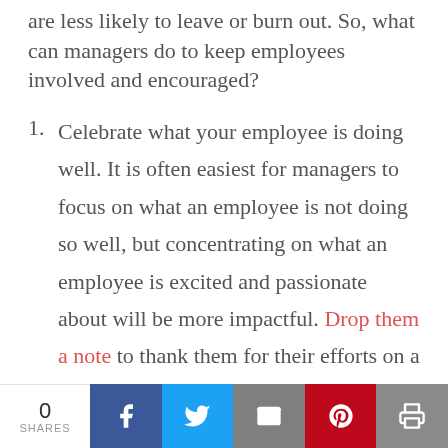are less likely to leave or burn out. So, what can managers do to keep employees involved and encouraged?
Celebrate what your employee is doing well. It is often easiest for managers to focus on what an employee is not doing so well, but concentrating on what an employee is excited and passionate about will be more impactful. Drop them a note to thank them for their efforts on a
0 SHARES | Facebook | Twitter | Email | Pinterest | Print